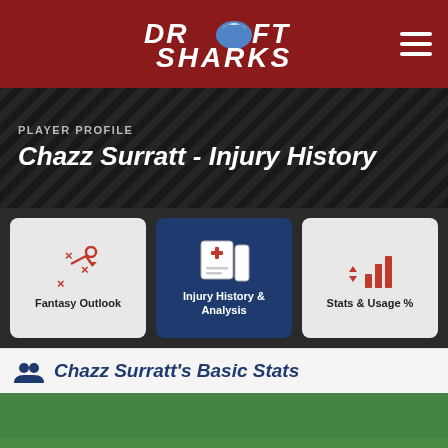Draft Sharks
PLAYER PROFILE
Chazz Surratt - Injury History
[Figure (other): Fantasy Outlook tab icon - play diagram with X's and O's]
[Figure (other): Injury History & Analysis tab icon - medical cross/document]
[Figure (other): Stats & Usage % tab icon - bar chart with arrows]
Chazz Surratt's Basic Stats
[Figure (photo): Football field grass photo showing green turf with white yard line marking]